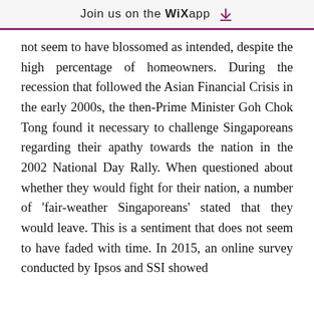Join us on the WiX app
not seem to have blossomed as intended, despite the high percentage of homeowners. During the recession that followed the Asian Financial Crisis in the early 2000s, the then-Prime Minister Goh Chok Tong found it necessary to challenge Singaporeans regarding their apathy towards the nation in the 2002 National Day Rally. When questioned about whether they would fight for their nation, a number of ‘fair-weather Singaporeans’ stated that they would leave. This is a sentiment that does not seem to have faded with time. In 2015, an online survey conducted by Ipsos and SSI showed